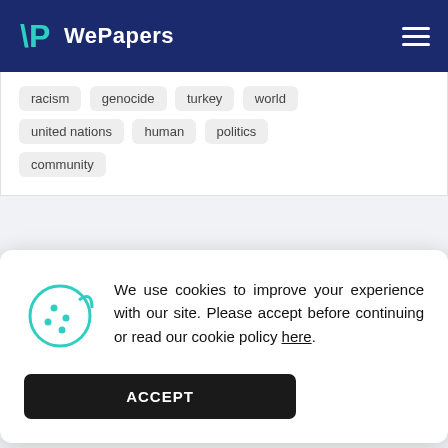WePapers
racism   genocide   turkey   world   united nations   human   politics   community
We use cookies to improve your experience with our site. Please accept before continuing or read our cookie policy here.
ACCEPT
Various factors come into play when it comes to Africa and how it is portrayed in the media across